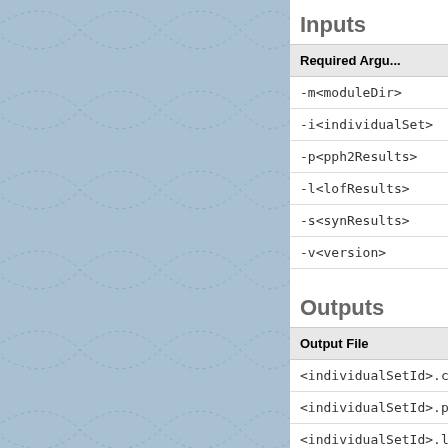[Figure (illustration): Blue patterned background with repeating wave/diamond shapes in a lighter blue stippled pattern on a steel blue background]
Inputs
| Required Argu... |
| --- |
| -m<moduleDir> |
| -i<individualSet> |
| -p<pph2Results> |
| -l<lofResults> |
| -s<synResults> |
| -v<version> |
Outputs
| Output File |
| --- |
| <individualSetId>.c... |
| <individualSetId>.p... |
| <individualSetId>.l... |
| <individualSetId>.s... |